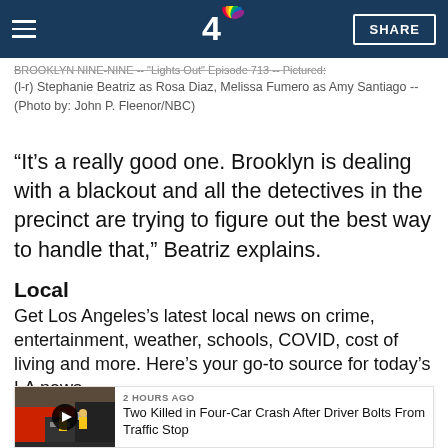NBC 4 Los Angeles — navigation bar with hamburger menu, NBC logo, and SHARE button
BROOKLYN NINE-NINE -- "Lights Out" Episode 713 -- Pictured: (l-r) Stephanie Beatriz as Rosa Diaz, Melissa Fumero as Amy Santiago -- (Photo by: John P. Fleenor/NBC)
“It’s a really good one. Brooklyn is dealing with a blackout and all the detectives in the precinct are trying to figure out the best way to handle that,” Beatriz explains.
Local
Get Los Angeles’s latest local news on crime, entertainment, weather, schools, COVID, cost of living and more. Here’s your go-to source for today’s LA news.
[Figure (photo): Thumbnail image of a car crash scene with fire trucks, showing rescue workers; play button overlay for video]
2 HOURS AGO
Two Killed in Four-Car Crash After Driver Bolts From Traffic Stop